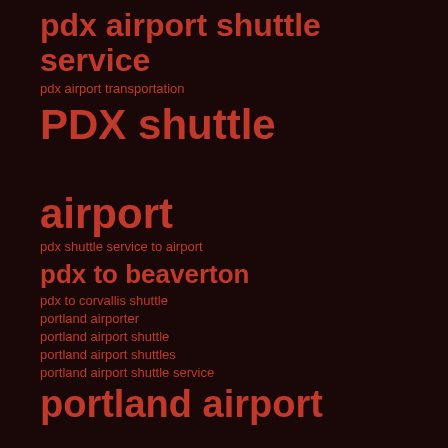pdx airport shuttle service
pdx airport transportation
PDX shuttle airport
pdx shuttle service to airport
pdx to beaverton
pdx to corvallis shuttle
portland airporter
portland airport shuttle
portland airport shuttles
portland airport shuttle service
portland airport shuttle services
Portland International Airport
portland international airport shuttle service